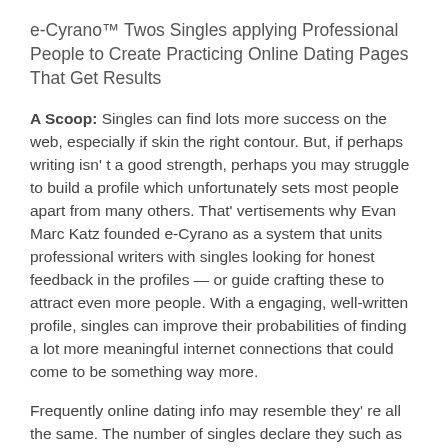e-Cyrano™ Twos Singles applying Professional People to Create Practicing Online Dating Pages That Get Results
A Scoop: Singles can find lots more success on the web, especially if skin the right contour. But, if perhaps writing isn' t a good strength, perhaps you may struggle to build a profile which unfortunately sets most people apart from many others. That' vertisements why Evan Marc Katz founded e-Cyrano as a system that units professional writers with singles looking for honest feedback in the profiles — or guide crafting these to attract even more people. With a engaging, well-written profile, singles can improve their probabilities of finding a lot more meaningful internet connections that could come to be something way more.
Frequently online dating info may resemble they' re all the same. The number of singles declare they such as traveling, lengthy walks relating to the beach, together